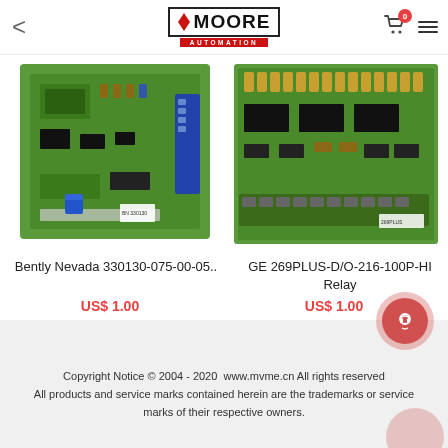Moore Automation
[Figure (photo): Green PCB circuit board - Bently Nevada 330130-075-00-05]
[Figure (photo): Green PCB circuit board - GE 269PLUS-D/O-216-100P-HI Relay]
Bently Nevada 330130-075-00-05..
US$ 1.00
GE 269PLUS-D/O-216-100P-HI Relay
US$ 1.00
Copyright Notice © 2004 - 2020  www.mvme.cn All rights reserved
All products and service marks contained herein are the trademarks or service marks of their respective owners.